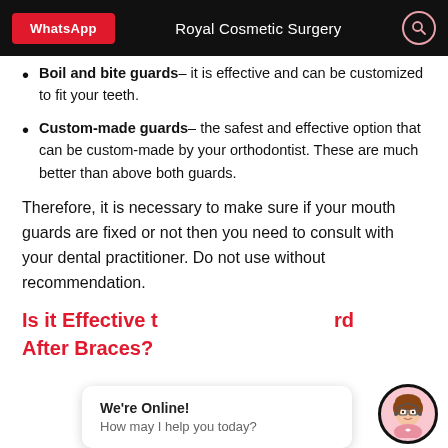WhatsApp | Royal Cosmetic Surgery
Boil and bite guards – it is effective and can be customized to fit your teeth.
Custom-made guards – the safest and effective option that can be custom-made by your orthodontist. These are much better than above both guards.
Therefore, it is necessary to make sure if your mouth guards are fixed or not then you need to consult with your dental practitioner. Do not use without recommendation.
Is it Effective to Wear Mouth Guard After Braces?
We're Online! How may I help you today?